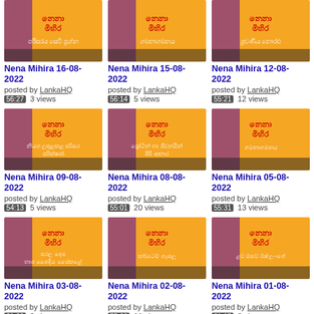[Figure (screenshot): Video thumbnail for Nena Mihira 16-08-2022 - orange background with Sinhala text]
Nena Mihira 16-08-2022
posted by LankaHQ 56:27 3 views
[Figure (screenshot): Video thumbnail for Nena Mihira 15-08-2022 - orange background with Sinhala text]
Nena Mihira 15-08-2022
posted by LankaHQ 56:14 5 views
[Figure (screenshot): Video thumbnail for Nena Mihira 12-08-2022 - orange background with Sinhala text]
Nena Mihira 12-08-2022
posted by LankaHQ 55:21 12 views
[Figure (screenshot): Video thumbnail for Nena Mihira 09-08-2022 - orange/purple background with Sinhala text]
Nena Mihira 09-08-2022
posted by LankaHQ 54:13 5 views
[Figure (screenshot): Video thumbnail for Nena Mihira 08-08-2022 - orange/purple background with Sinhala text]
Nena Mihira 08-08-2022
posted by LankaHQ 55:01 20 views
[Figure (screenshot): Video thumbnail for Nena Mihira 05-08-2022 - orange/purple background with Sinhala text]
Nena Mihira 05-08-2022
posted by LankaHQ 55:31 13 views
[Figure (screenshot): Video thumbnail for Nena Mihira 03-08-2022 - orange/purple background with Sinhala text]
Nena Mihira 03-08-2022
posted by LankaHQ 01:30 9 views
[Figure (screenshot): Video thumbnail for Nena Mihira 02-08-2022 - orange/purple background with Sinhala text]
Nena Mihira 02-08-2022
posted by LankaHQ 55:00 11 views
[Figure (screenshot): Video thumbnail for Nena Mihira 01-08-2022 - orange/purple background with Sinhala text]
Nena Mihira 01-08-2022
posted by LankaHQ 01:15 8 views
[Figure (screenshot): Video thumbnail partially visible at bottom left]
[Figure (screenshot): Video thumbnail partially visible at bottom center]
[Figure (screenshot): Video thumbnail partially visible at bottom right]